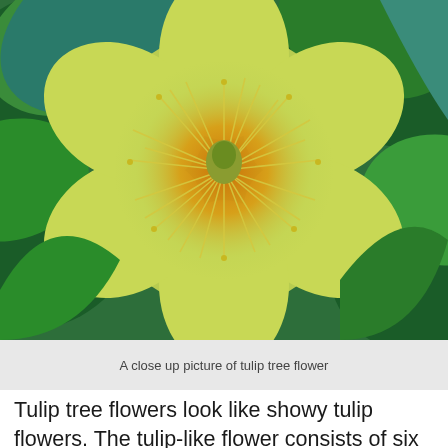[Figure (photo): Close-up photograph of a tulip tree flower with yellow-green petals and orange center, surrounded by green leaves]
A close up picture of tulip tree flower
Tulip tree flowers look like showy tulip flowers. The tulip-like flower consists of six rounded petals that are a yellow-green color with splashes of orange. Flowers on tulip trees measure 1” to 4” (3 – 10 cm) in diameter. Depending on the zone, tulip trees generally bloom in mid-spring.